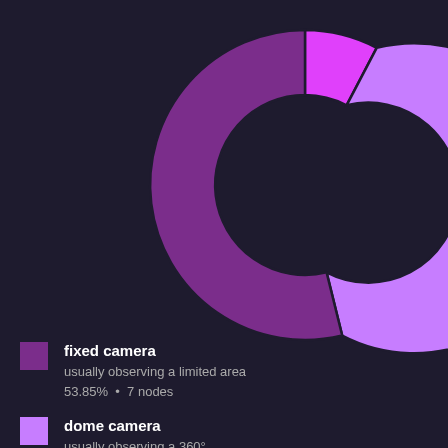[Figure (donut-chart): Camera types]
fixed camera
usually observing a limited area
53.85% • 7 nodes
dome camera
usually observing a 360°...